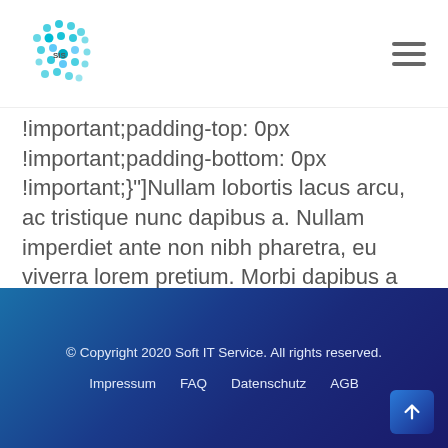Soft IT Service logo and navigation hamburger menu
!important;padding-top: 0px !important;padding-bottom: 0px !important;}"]​Nullam lobortis lacus arcu, ac tristique nunc dapibus a. Nullam imperdiet ante non nibh pharetra, eu viverra lorem pretium. Morbi dapibus a tellus at euismod. [/bsf-info-box][/vc_column_inner][/vc_row_inner][/vc_column][/vc_row]
© Copyright 2020 Soft IT Service. All rights reserved.
Impressum  FAQ  Datenschutz  AGB